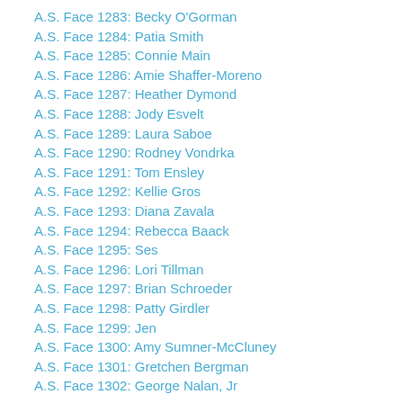A.S. Face 1283: Becky O'Gorman
A.S. Face 1284: Patia Smith
A.S. Face 1285: Connie Main
A.S. Face 1286: Amie Shaffer-Moreno
A.S. Face 1287: Heather Dymond
A.S. Face 1288: Jody Esvelt
A.S. Face 1289: Laura Saboe
A.S. Face 1290: Rodney Vondrka
A.S. Face 1291: Tom Ensley
A.S. Face 1292: Kellie Gros
A.S. Face 1293: Diana Zavala
A.S. Face 1294: Rebecca Baack
A.S. Face 1295: Ses
A.S. Face 1296: Lori Tillman
A.S. Face 1297: Brian Schroeder
A.S. Face 1298: Patty Girdler
A.S. Face 1299: Jen
A.S. Face 1300: Amy Sumner-McCluney
A.S. Face 1301: Gretchen Bergman
A.S. Face 1302: George Nalan, Jr